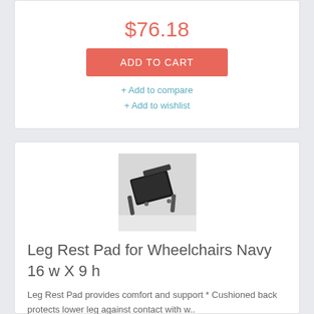$76.18
ADD TO CART
+ Add to compare
+ Add to wishlist
[Figure (photo): Leg rest pad product photo showing a cushioned wheelchair leg rest with metal brackets against a white background]
Leg Rest Pad for Wheelchairs Navy 16 w X 9 h
Leg Rest Pad provides comfort and support * Cushioned back protects lower leg against contact with w..